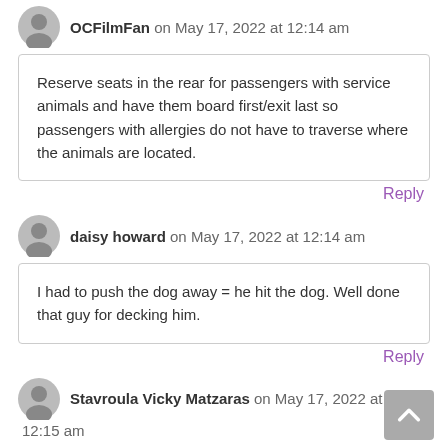OCFilmFan on May 17, 2022 at 12:14 am
Reserve seats in the rear for passengers with service animals and have them board first/exit last so passengers with allergies do not have to traverse where the animals are located.
Reply
daisy howard on May 17, 2022 at 12:14 am
I had to push the dog away = he hit the dog. Well done that guy for decking him.
Reply
Stavroula Vicky Matzaras on May 17, 2022 at 12:15 am